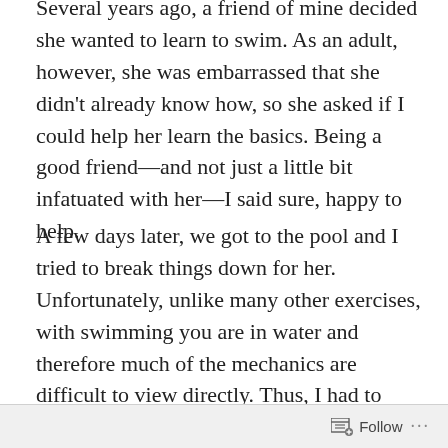Several years ago, a friend of mine decided she wanted to learn to swim. As an adult, however, she was embarrassed that she didn't already know how, so she asked if I could help her learn the basics. Being a good friend—and not just a little bit infatuated with her—I said sure, happy to help.
A few days later, we got to the pool and I tried to break things down for her. Unfortunately, unlike many other exercises, with swimming you are in water and therefore much of the mechanics are difficult to view directly. Thus, I had to show her the mechanics above water, as though swimming to the ceiling. And that's when everything started to fall apart.
No sooner did I begin teasing out the various movements
Follow